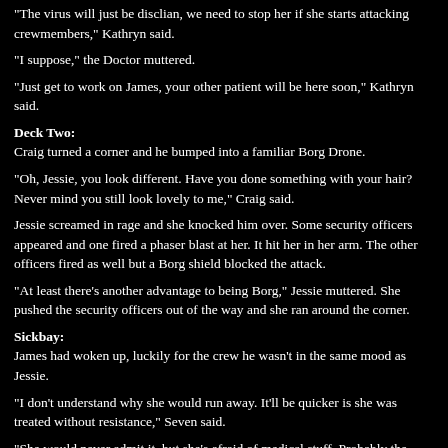"The virus will just be disclian, we need to stop her if she starts attacking crewmembers," Kathryn said.
"I suppose," the Doctor muttered.
"Just get to work on James, your other patient will be here soon," Kathryn said.
Deck Two:
Craig turned a corner and he bumped into a familiar Borg Drone.
"Oh, Jessie, you look different. Have you done something with your hair? Never mind you still look lovely to me," Craig said.
Jessie screamed in rage and she knocked him over. Some security officers appeared and one fired a phaser blast at her. It hit her in her arm. The other officers fired as well but a Borg shield blocked the attack.
"At least there's another advantage to being Borg," Jessie muttered. She pushed the security officers out of the way and she ran around the corner.
Sickbay:
James had woken up, luckily for the crew he wasn't in the same mood as Jessie.
"I don't understand why she would run away. It'll be quicker is she was treated without resistance," Seven said.
"She would never admit it, but she's afraid of medical stuff. Probably the thought of you taking implants out of her scared her," James said.